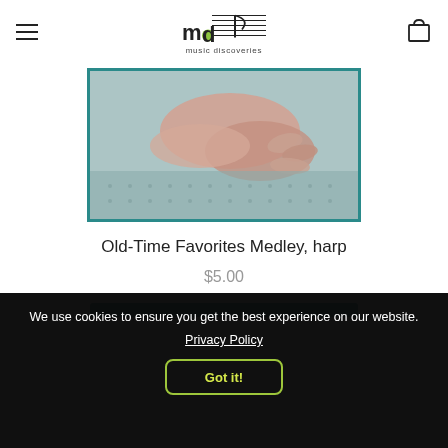music discoveries
[Figure (photo): Close-up photo of hands resting on a textured surface, suggesting a harp or music-related context, with a teal border frame.]
Old-Time Favorites Medley, harp
$5.00
We use cookies to ensure you get the best experience on our website.
Privacy Policy
Got it!